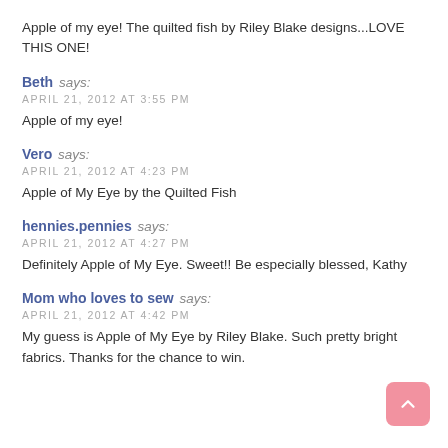Apple of my eye! The quilted fish by Riley Blake designs...LOVE THIS ONE!
Beth says:
APRIL 21, 2012 AT 3:55 PM
Apple of my eye!
Vero says:
APRIL 21, 2012 AT 4:23 PM
Apple of My Eye by the Quilted Fish
hennies.pennies says:
APRIL 21, 2012 AT 4:27 PM
Definitely Apple of My Eye. Sweet!! Be especially blessed, Kathy
Mom who loves to sew says:
APRIL 21, 2012 AT 4:42 PM
My guess is Apple of My Eye by Riley Blake. Such pretty bright fabrics. Thanks for the chance to win.